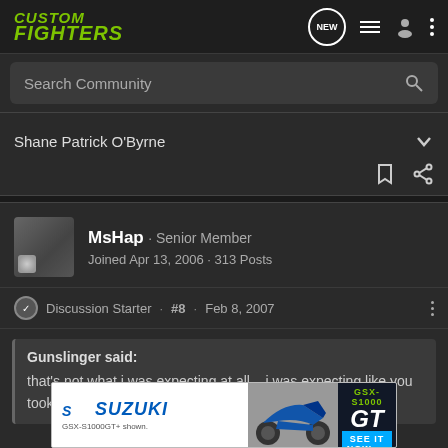Custom Fighters
Search Community
Shane Patrick O'Byrne
MsHap · Senior Member
Joined Apr 13, 2006 · 313 Posts
Discussion Starter · #8 · Feb 8, 2007
Gunslinger said:
that's not what i was expecting at all....i was expecting like you took your ig... you flip the sw... tton and yo...
[Figure (screenshot): Suzuki GSX-S1000 GT advertisement banner overlay]